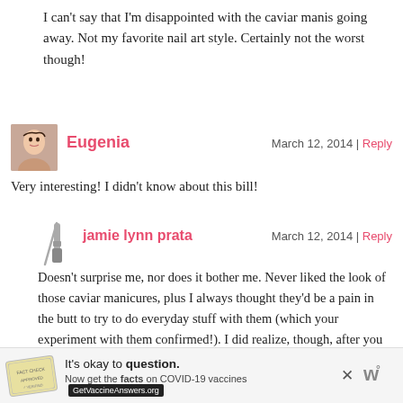I can't say that I'm disappointed with the caviar manis going away. Not my favorite nail art style. Certainly not the worst though!
Eugenia — March 12, 2014 | Reply
Very interesting! I didn't know about this bill!
jamie lynn prata — March 12, 2014 | Reply
Doesn't surprise me, nor does it bother me. Never liked the look of those caviar manicures, plus I always thought they'd be a pain in the butt to try to do everyday stuff with them (which your experiment with them confirmed!). I did realize, though, after you made that post about the microbeads, that my Bath & Body Works hand soap has them in it! *sad face* I just hope they (B&BW) keep making them, just without the beads. I have the Winter Candy Apple (still! Got it on clearance after the holidays for crazy cheap!) and I love how it smells!
[Figure (infographic): COVID-19 vaccine ad banner: It's okay to question. Now get the facts on COVID-19 vaccines. GetVaccineAnswers.org]